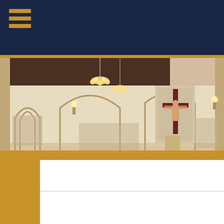[Figure (screenshot): Dark navy blue header bar with a gold/amber hamburger menu icon (three horizontal lines) in the top-left corner]
[Figure (photo): Panoramic interior photo of a Catholic church showing arched ceilings, chandeliers, wall-mounted lights, painted arch details, and a large crucifix mounted on the wall at the altar area]
[Figure (screenshot): Gold/amber bottom section with a white content card area partially visible, featuring a horizontal divider line]